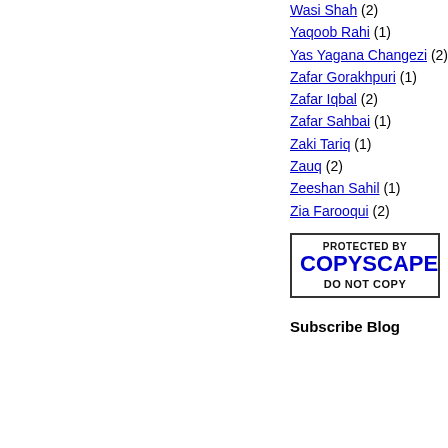Wasi Shah (2)
Yaqoob Rahi (1)
Yas Yagana Changezi (2)
Zafar Gorakhpuri (1)
Zafar Iqbal (2)
Zafar Sahbai (1)
Zaki Tariq (1)
Zauq (2)
Zeeshan Sahil (1)
Zia Farooqui (2)
[Figure (logo): Copyscape badge: Protected by Copyscape Do Not Copy]
Subscribe Blog